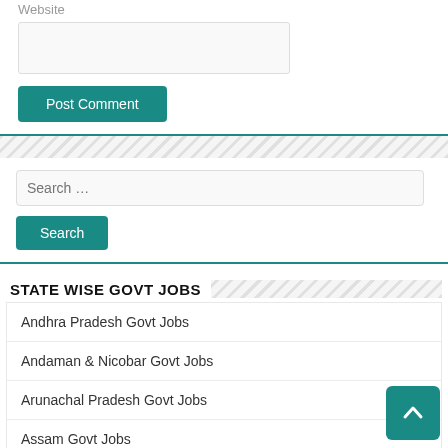Website
Post Comment
Search …
Search
STATE WISE GOVT JOBS
Andhra Pradesh Govt Jobs
Andaman & Nicobar Govt Jobs
Arunachal Pradesh Govt Jobs
Assam Govt Jobs